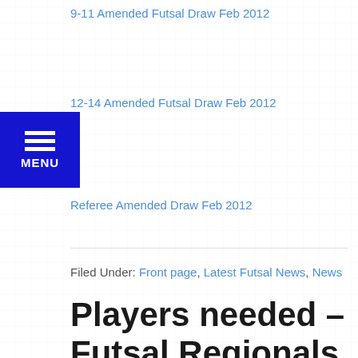9-11 Amended Futsal Draw Feb 2012
12-14 Amended Futsal Draw Feb 2012
Referee Amended Draw Feb 2012
Filed Under: Front page, Latest Futsal News, News
Players needed – Futsal Regionals
February 20, 2012 By Scott Moffatt
There are a few spots left in the Junior Futsal